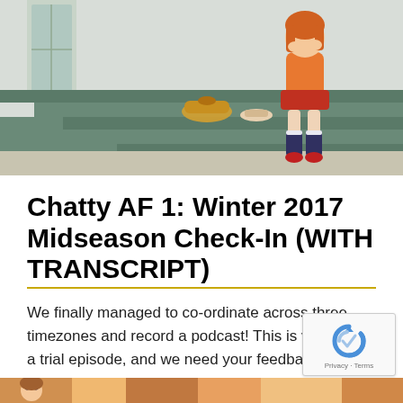[Figure (illustration): Anime screenshot showing a girl in an orange outfit with dark knee-high socks and red shoes sitting on dark green stairs, with shoes/accessories on the steps beside her. Interior staircase setting with light walls.]
Chatty AF 1: Winter 2017 Midseason Check-In (WITH TRANSCRIPT)
We finally managed to co-ordinate across three timezones and record a podcast! This is very much a trial episode, and we need your feedback to know if/how we should continue.
[Figure (illustration): Partial bottom strip showing colorful anime-style imagery, cropped at page bottom.]